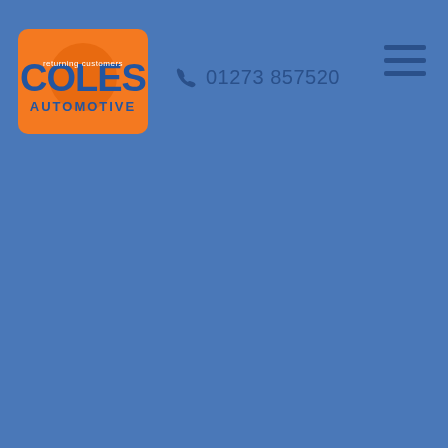[Figure (logo): Coles Automotive logo — orange rounded rectangle with blue COLES text and AUTOMOTIVE subtitle, with a circular element behind the text]
01273 857520
[Figure (other): Hamburger menu icon — three horizontal dark blue lines stacked vertically]